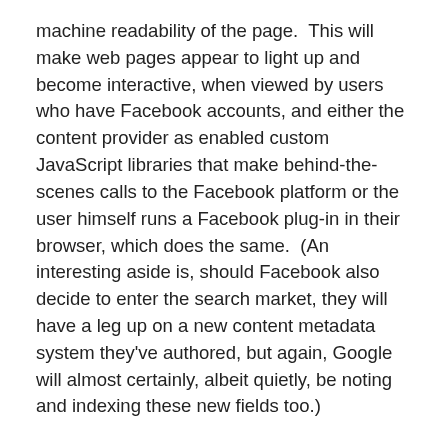machine readability of the page.  This will make web pages appear to light up and become interactive, when viewed by users who have Facebook accounts, and either the content provider as enabled custom JavaScript libraries that make behind-the-scenes calls to the Facebook platform or the user himself runs a Facebook plug-in in their browser, which does the same.  (An interesting aside is, should Facebook also decide to enter the search market, they will have a leg up on a new content metadata system they've authored, but again, Google will almost certainly, albeit quietly, be noting and indexing these new fields too.)
However, even users not intending to reveal their web-wanderings to Facebook do so when content providers add a 'Like' button to their web pages.  Either the IFRAME or JavaScript implementations of this make subtle calls